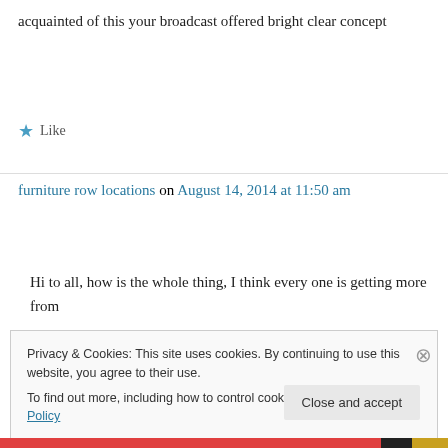acquainted of this your broadcast offered bright clear concept
★ Like
furniture row locations on August 14, 2014 at 11:50 am
Hi to all, how is the whole thing, I think every one is getting more from this web site, and your views are nice in favor of
Privacy & Cookies: This site uses cookies. By continuing to use this website, you agree to their use.
To find out more, including how to control cookies, see here: Cookie Policy
Close and accept